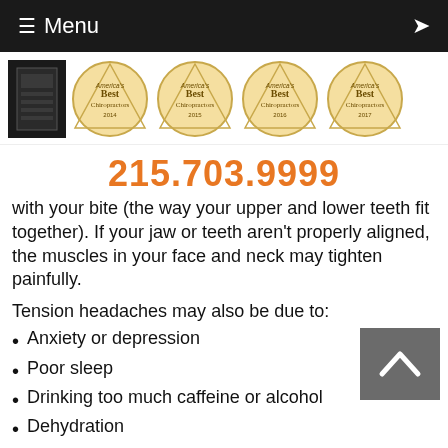≡ Menu
[Figure (photo): Awards row showing a dark plaque and four circular gold 'America's Best Chiropractors' badges for years 2014, 2015, 2016, 2017]
215.703.9999
with your bite (the way your upper and lower teeth fit together). If your jaw or teeth aren't properly aligned, the muscles in your face and neck may tighten painfully.
Tension headaches may also be due to:
Anxiety or depression
Poor sleep
Drinking too much caffeine or alcohol
Dehydration
Hunger
Fatigue